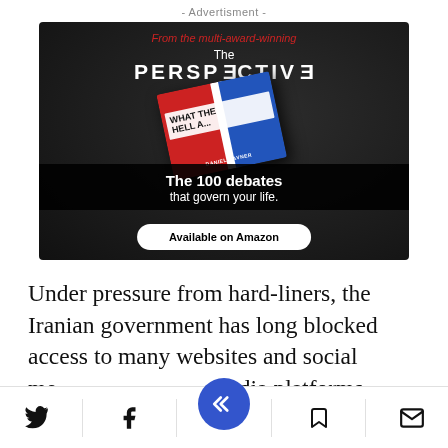- Advertisment -
[Figure (illustration): Advertisement for 'The Perspective' book by Daniel Ravner — dark background with red text 'From the multi-award-winning', white text 'The PERSPECTIVE', book cover image showing 'WHAT THE HELL A...' in bold, black band with text 'The 100 debates that govern your life.', and a white pill button 'Available on Amazon']
Under pressure from hard-liners, the Iranian government has long blocked access to many websites and social media platforms, from
Twitter | Facebook | [share button] | Bookmark | Email